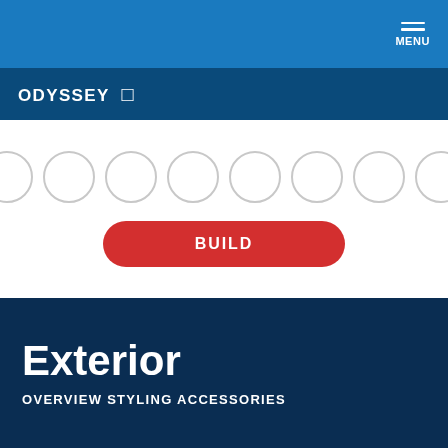MENU
ODYSSEY  [
[Figure (other): Row of 8 empty white circles representing color swatches for vehicle color selection]
BUILD
Exterior
OVERVIEW STYLING ACCESSORIES